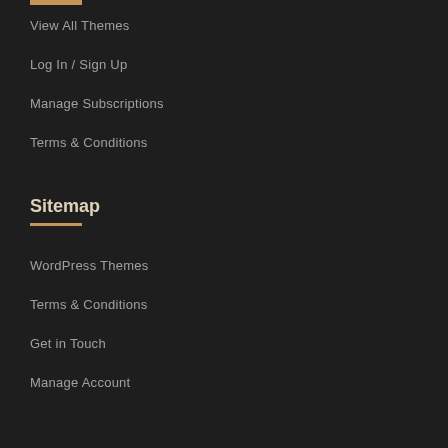View All Themes
Log In / Sign Up
Manage Subscriptions
Terms & Conditions
Sitemap
WordPress Themes
Terms & Conditions
Get in Touch
Manage Account